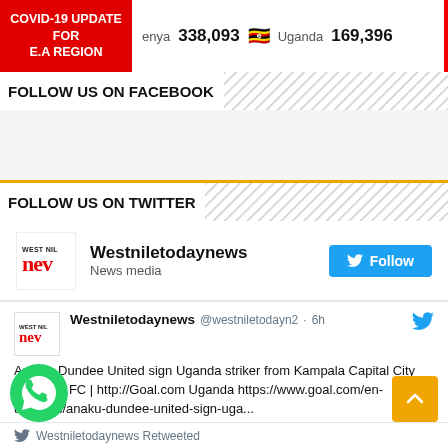COVID-19 UPDATE FOR E.A REGION | Kenya 338,093 | Uganda 169,396
FOLLOW US ON FACEBOOK
FOLLOW US ON TWITTER
[Figure (screenshot): Westniletodaynews Twitter Follow widget with logo and Follow button]
[Figure (screenshot): Tweet from Westniletodaynews @westniletodayn2 6h: Anaku: Dundee United sign Uganda striker from Kampala Capital City Authority FC | http://Goal.com Uganda https://www.goal.com/en-ug/news/anaku-dundee-united-sign-uga...]
[Figure (other): WhatsApp floating button]
[Figure (other): Scroll to top orange button]
Westniletodaynews Retweeted